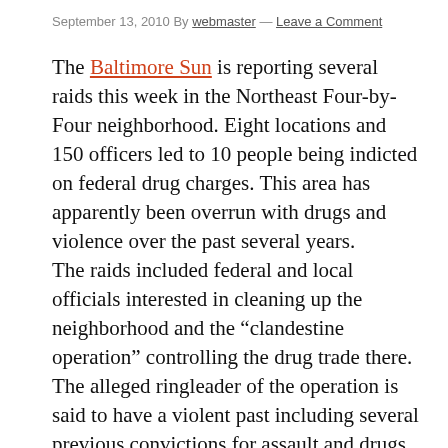September 13, 2010 By webmaster — Leave a Comment
The Baltimore Sun is reporting several raids this week in the Northeast Four-by-Four neighborhood. Eight locations and 150 officers led to 10 people being indicted on federal drug charges. This area has apparently been overrun with drugs and violence over the past several years.
The raids included federal and local officials interested in cleaning up the neighborhood and the “clandestine operation” controlling the drug trade there. The alleged ringleader of the operation is said to have a violent past including several previous convictions for assault and drugs and being a suspect in four unsolved murder cases.
Weapons and drugs, officials say, were kept in the homes of neighbors and conspirators in the neighborhood and even around the homes. Although this